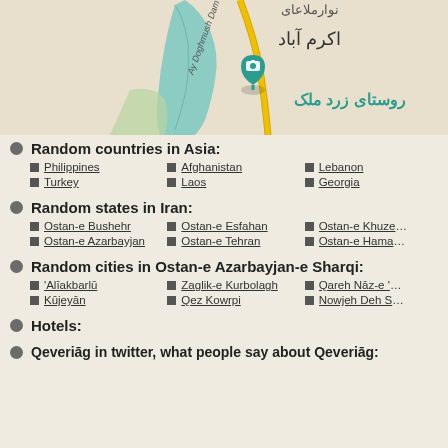[Figure (map): Map showing location of روستای زرد ملک (Zard Malak village) with a camera pin marker, near Ay Doghmush Dam, with Persian text labels including اکرم آباد]
Random countries in Asia:
Philippines
Afghanistan
Lebanon
Turkey
Laos
Georgia
Random states in Iran:
Ostan-e Bushehr
Ostan-e Esfahan
Ostan-e Khuzestan
Ostan-e Azarbayjan
Ostan-e Tehran
Ostan-e Hamadan
Random cities in Ostan-e Azarbayjan-e Sharqi:
'Alīakbarlū
Zaglik-e Kurbolagh
Qareh Nāz-e 'Olyā
Kūjeyān
Qez Kowrpi
Nowjeh Deh Shoja'
Hotels:
Qeveriāg in twitter, what people say about Qeveriāg: